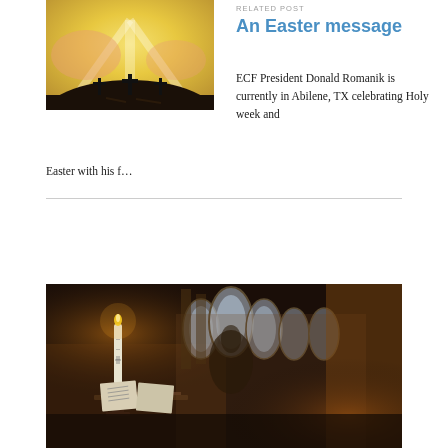[Figure (photo): Painting of three crosses on a hill with golden light rays, Easter-themed artwork]
RELATED POST
An Easter message
ECF President Donald Romanik is currently in Abilene, TX celebrating Holy week and Easter with his f…
[Figure (photo): Dark interior of a church with a lit candle, open book on a stand, and stained glass windows in the background]